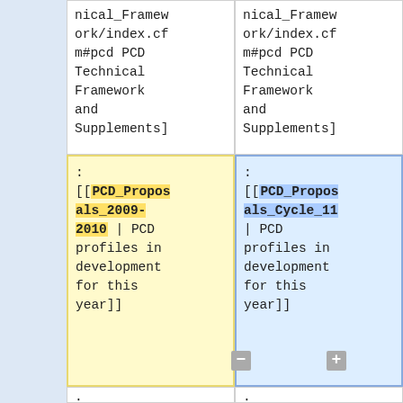nical_Framework/index.cfm#pcd PCD Technical Framework and Supplements]
nical_Framework/index.cfm#pcd PCD Technical Framework and Supplements]
: [[PCD_Proposals_2009-2010 | PCD profiles in development for this year]]
: [[PCD_Proposals_Cycle_11 | PCD profiles in development for this year]]
: [[PCD_Presentations | PCD Presentations]]
: [[PCD_Presentations | PCD Presentations]]